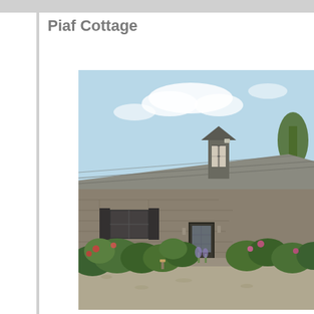Piaf Cottage
[Figure (photo): Exterior photo of Piaf Cottage, a traditional stone farmhouse with a large slate roof, dormer window with a small turret, black shuttered windows, a glass-panelled front door, garden wall, and lush shrubs and flowering plants in the foreground under a partly cloudy sky.]